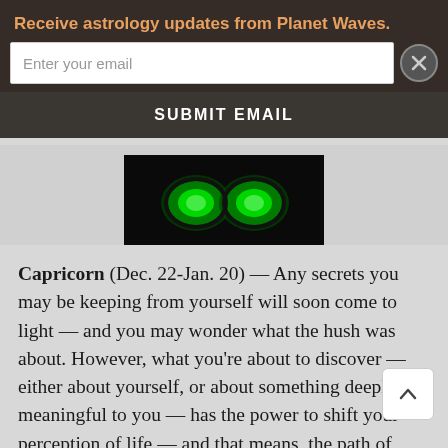Receive astrology updates from Planet Waves.
Enter your email
SUBMIT EMAIL
[Figure (photo): Close-up photo of green glowing glasses/goggles on dark background]
Capricorn (Dec. 22-Jan. 20) — Any secrets you may be keeping from yourself will soon come to light — and you may wonder what the hush was about. However, what you're about to discover — either about yourself, or about something deeply meaningful to you — has the power to shift your perception of life — and that means, the path of your life. Most of the time seemingly little revelations are forgotten as fast as they emerge; it's time for you to recognize the power of an idea.